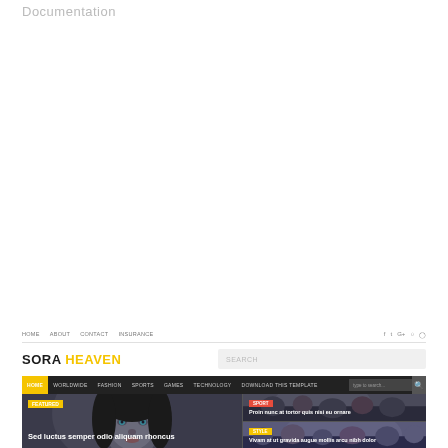Documentation
[Figure (screenshot): Screenshot of a website template called 'Sora Heaven' showing a navigation bar with links (HOME, ABOUT, CONTACT, INSURANCE) and social icons, a logo 'SORA HEAVEN' with a search box, a dark main navigation menu with categories (HOME, WORLDWIDE, FASHION, SPORTS, GAMES, TECHNOLOGY, DOWNLOAD THIS TEMPLATE) and a search input, and a hero section with three story panels showing a close-up of a woman's face with text 'Sed luctus semper odio aliquam rhoncus', and two smaller story panels with placeholder text and tags (SPORT, STYLE).]